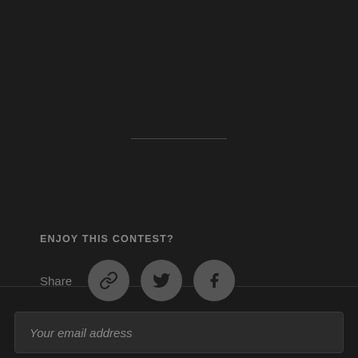ENJOY THIS CONTEST?
Share
[Figure (infographic): Three circular share buttons: a chain link icon, a Twitter bird icon, and a Facebook 'f' icon, all on dark gray circular backgrounds]
Eager to get building?
Become a member and discover thousands of projects
Your email address